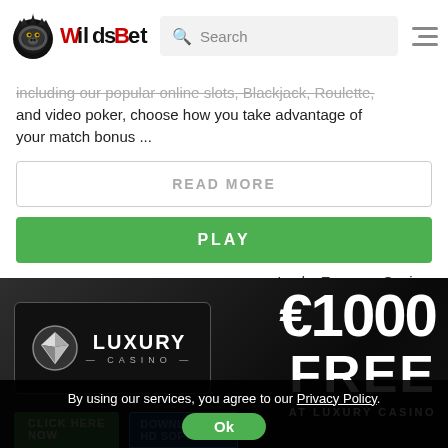WildsBet
including our popular online slots, Blackjack, Roulette, and video poker, choose how you take advantage of your match bonus ...
READ MORE
PLAY
Lucky Emperor Casino
[Figure (photo): Luxury Casino promotional banner showing €1000 FREE AT LUXURY CASINO offer with Luxury Casino logo on dark background]
By using our services, you agree to our Privacy Policy.
Ok